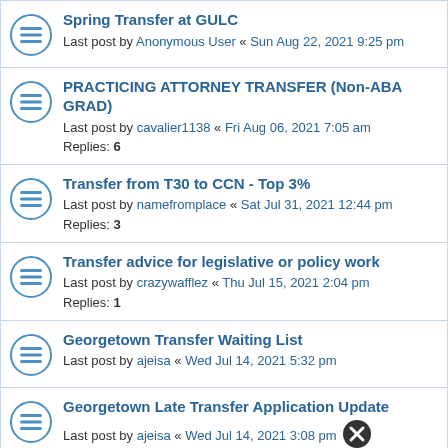Spring Transfer at GULC
Last post by Anonymous User « Sun Aug 22, 2021 9:25 pm
PRACTICING ATTORNEY TRANSFER (Non-ABA GRAD)
Last post by cavalier1138 « Fri Aug 06, 2021 7:05 am
Replies: 6
Transfer from T30 to CCN - Top 3%
Last post by namefromplace « Sat Jul 31, 2021 12:44 pm
Replies: 3
Transfer advice for legislative or policy work
Last post by crazywafflez « Thu Jul 15, 2021 2:04 pm
Replies: 1
Georgetown Transfer Waiting List
Last post by ajeisa « Wed Jul 14, 2021 5:32 pm
Georgetown Late Transfer Application Update
Last post by ajeisa « Wed Jul 14, 2021 3:08 pm
Should I transfer?
Last post by ...